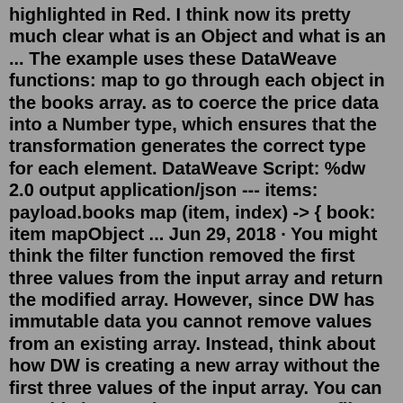highlighted in Red. I think now its pretty much clear what is an Object and what is an ... The example uses these DataWeave functions: map to go through each object in the books array. as to coerce the price data into a Number type, which ensures that the transformation generates the correct type for each element. DataWeave Script: %dw 2.0 output application/json --- items: payload.books map (item, index) -> { book: item mapObject ... Jun 29, 2018 · You might think the filter function removed the first three values from the input array and return the modified array. However, since DW has immutable data you cannot remove values from an existing array. Instead, think about how DW is creating a new array without the first three values of the input array. You can see this here: %dw 1.0 Syntax. To use filter, you will need to pass two arguments: an Array of any type and a function (or a condition) to filter the data with. The result will be of the same type as the input Array. For example, if you pass an Array of Numbers ( Array<Number> ), the result will also be an Array of